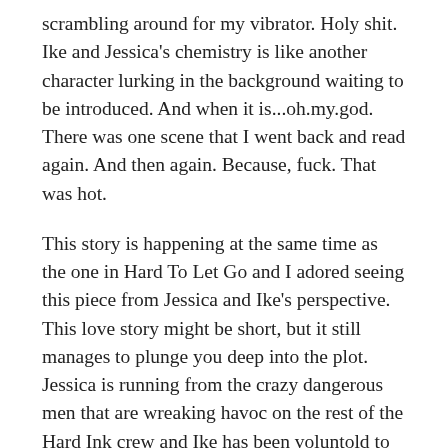scrambling around for my vibrator. Holy shit. Ike and Jessica's chemistry is like another character lurking in the background waiting to be introduced. And when it is...oh.my.god. There was one scene that I went back and read again. And then again. Because, fuck. That was hot.
This story is happening at the same time as the one in Hard To Let Go and I adored seeing this piece from Jessica and Ike's perspective. This love story might be short, but it still manages to plunge you deep into the plot. Jessica is running from the crazy dangerous men that are wreaking havoc on the rest of the Hard Ink crew and Ike has been voluntold to protect her. Not that he wouldn't have done that anyway. He may not be willing to admit that he has real feelings for Jessica, but he sure as hell knows that he needs to keep her safe.
And how oi didn't lose my mind? Oh, that I...